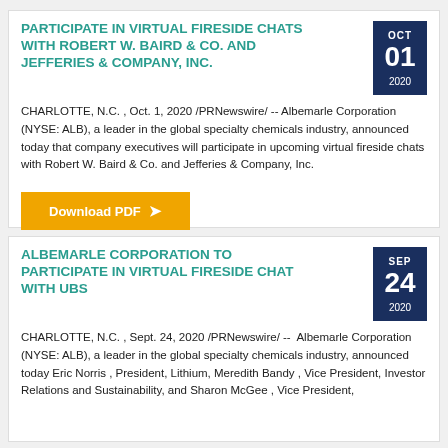PARTICIPATE IN VIRTUAL FIRESIDE CHATS WITH ROBERT W. BAIRD & CO. AND JEFFERIES & COMPANY, INC.
CHARLOTTE, N.C. , Oct. 1, 2020 /PRNewswire/ -- Albemarle Corporation (NYSE: ALB), a leader in the global specialty chemicals industry, announced today that company executives will participate in upcoming virtual fireside chats with Robert W. Baird & Co. and Jefferies & Company, Inc.
ALBEMARLE CORPORATION TO PARTICIPATE IN VIRTUAL FIRESIDE CHAT WITH UBS
CHARLOTTE, N.C. , Sept. 24, 2020 /PRNewswire/ --  Albemarle Corporation (NYSE: ALB), a leader in the global specialty chemicals industry, announced today Eric Norris , President, Lithium, Meredith Bandy , Vice President, Investor Relations and Sustainability, and Sharon McGee , Vice President,